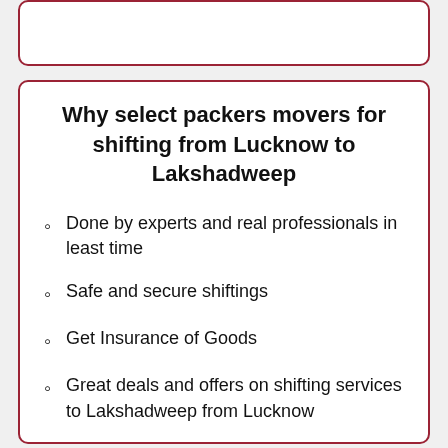Why select packers movers for shifting from Lucknow to Lakshadweep
Done by experts and real professionals in least time
Safe and secure shiftings
Get Insurance of Goods
Great deals and offers on shifting services to Lakshadweep from Lucknow